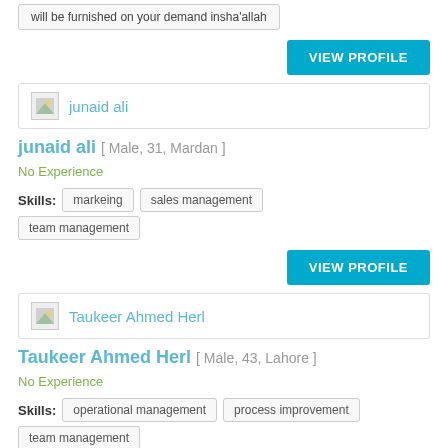will be furnished on your demand insha’allah
VIEW PROFILE
[Figure (other): Profile header box with placeholder image and name: junaid ali]
junaid ali [ Male, 31, Mardan ]
No Experience
Skills: markeing   sales management   team management
VIEW PROFILE
[Figure (other): Profile header box with placeholder image and name: Taukeer Ahmed Herl]
Taukeer Ahmed Herl [ Male, 43, Lahore ]
No Experience
Skills: operational management   process improvement   team management
VIEW PROFILE